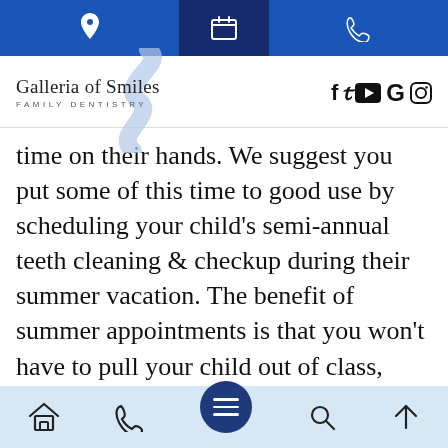Navigation bar with location, calendar, and phone icons
[Figure (logo): Galleria of Smiles Family Dentistry logo with decorative S-curve and social media icons (Facebook, Twitter, YouTube, Google, Instagram)]
time on their hands. We suggest you put some of this time to good use by scheduling your child's semi-annual teeth cleaning & checkup during their summer vacation. The benefit of summer appointments is that you won't have to pull your child out of class, they won't have to miss extracurricular activities & their appointment won't cut into homework time.
Bottom navigation bar with home, phone, menu, search, and up-arrow icons